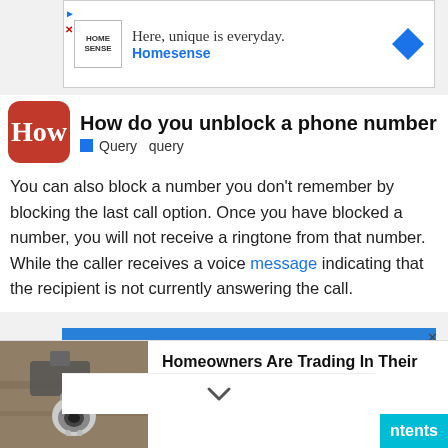[Figure (screenshot): HomeSense advertisement banner: 'Here, unique is everyday. Homesense' with logo and blue diamond arrow icon]
How do you unblock a phone number
Query  query
You can also block a number you don't remember by blocking the last call option. Once you have blocked a number, you will not receive a ringtone from that number. While the caller receives a voice message indicating that the recipient is not currently answering the call.
[Figure (screenshot): Blue advertisement: 'Your 1 Plumber - Affordable Plumbing Services - Hire Professional Plumbers In Your...']
[Figure (screenshot): Bottom overlay ad with security camera photo: 'Homeowners Are Trading In Their Doorbell Cams For This' - Camerca | Sponsored]